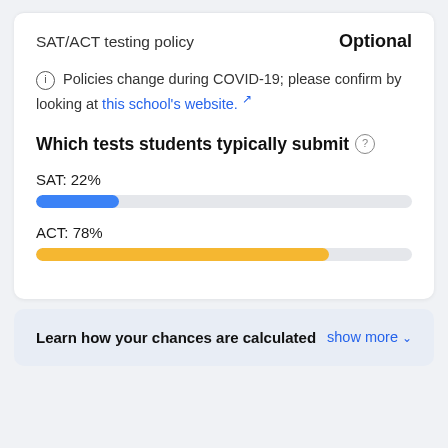SAT/ACT testing policy | Optional
Policies change during COVID-19; please confirm by looking at this school's website.
Which tests students typically submit
SAT: 22%
[Figure (bar-chart): SAT submission rate]
ACT: 78%
[Figure (bar-chart): ACT submission rate]
Learn how your chances are calculated show more